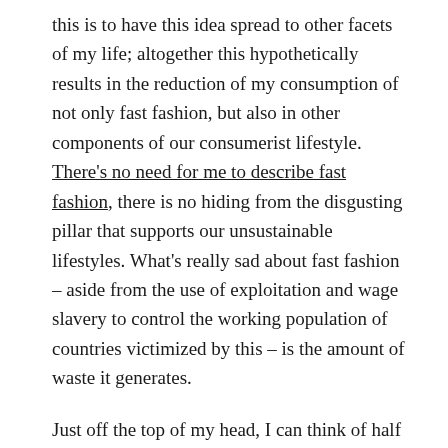this is to have this idea spread to other facets of my life; altogether this hypothetically results in the reduction of my consumption of not only fast fashion, but also in other components of our consumerist lifestyle. There's no need for me to describe fast fashion, there is no hiding from the disgusting pillar that supports our unsustainable lifestyles. What's really sad about fast fashion – aside from the use of exploitation and wage slavery to control the working population of countries victimized by this – is the amount of waste it generates.
Just off the top of my head, I can think of half a dozen various button up shirts I own: one white and light blue OCBD, a light-blue OCBD with a white